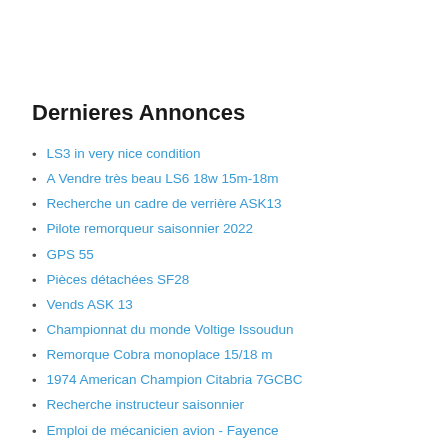Dernieres Annonces
LS3 in very nice condition
A Vendre très beau LS6 18w 15m-18m
Recherche un cadre de verrière ASK13
Pilote remorqueur saisonnier 2022
GPS 55
Pièces détachées SF28
Vends ASK 13
Championnat du monde Voltige Issoudun
Remorque Cobra monoplace 15/18 m
1974 American Champion Citabria 7GCBC
Recherche instructeur saisonnier
Emploi de mécanicien avion - Fayence
Chef pilote de Fayence
AEROTECHNICS recrute mécanicien/peintre aéronautique